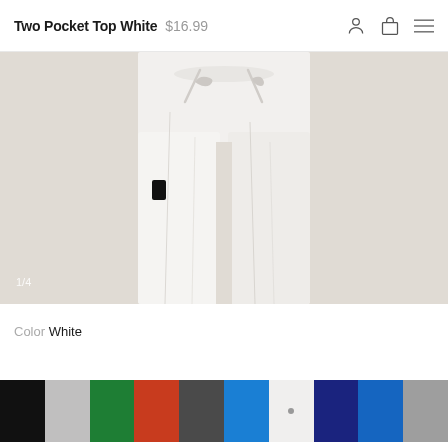Two Pocket Top White $16.99
[Figure (photo): White medical scrub pants/bottoms with drawstring waist and side pocket, shown on a model against a light gray background. Image counter '1/4' visible at bottom left.]
Color White
[Figure (other): Color swatches row showing: black, silver/gray, green, red/orange, charcoal, blue, white (selected with dot), navy, royal blue, gray]